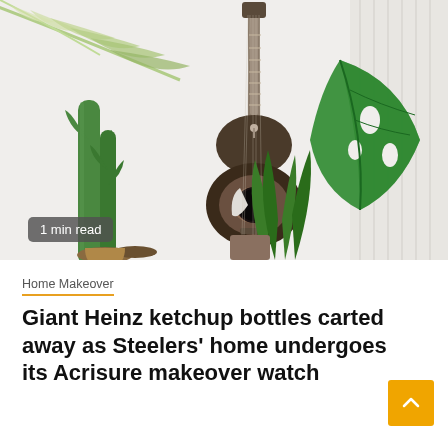[Figure (photo): A guitar hanging on a white wall surrounded by various green indoor plants including a cactus, monstera, and palm fronds. A '1 min read' badge appears in the lower left of the image.]
Home Makeover
Giant Heinz ketchup bottles carted away as Steelers' home undergoes its Acrisure makeover watch